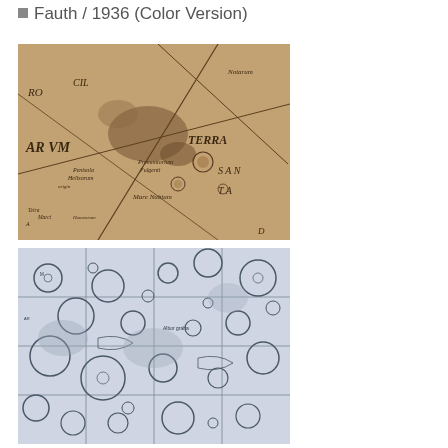Fauth / 1936 (Color Version)
[Figure (map): Sepia-toned historical map of Mars showing Latin geographical names such as ARVM, TERRA, SANTA, and various feature names including Mare Nubium, Promontorium Fulgenti, Penisola Helisorum. Lines cross the map at various angles. The map has an aged, antique appearance with brown tones.]
[Figure (map): Black and white detailed map of Mars showing craters, circular features, and surface details. Grid lines divide the map into sections. Various small craters and surface formations are visible across the map in a detailed topographic style.]